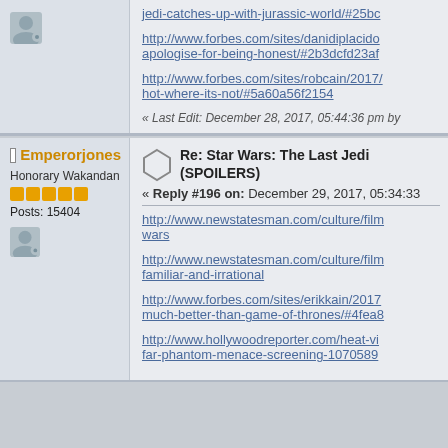jedi-catches-up-with-jurassic-world/#25bc
http://www.forbes.com/sites/danidiplacido apologise-for-being-honest/#2b3dcfd23af
http://www.forbes.com/sites/robcain/2017 hot-where-its-not/#5a60a56f2154
« Last Edit: December 28, 2017, 05:44:36 pm by
Emperorjones
Honorary Wakandan
Posts: 15404
Re: Star Wars: The Last Jedi (SPOILERS)
« Reply #196 on: December 29, 2017, 05:34:33
http://www.newstatesman.com/culture/film wars
http://www.newstatesman.com/culture/film familiar-and-irrational
http://www.forbes.com/sites/erikkain/2017 much-better-than-game-of-thrones/#4fea8
http://www.hollywoodreporter.com/heat-vi far-phantom-menace-screening-1070589